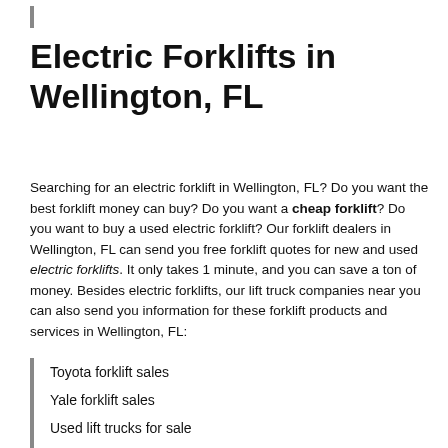Electric Forklifts in Wellington, FL
Searching for an electric forklift in Wellington, FL? Do you want the best forklift money can buy? Do you want a cheap forklift? Do you want to buy a used electric forklift? Our forklift dealers in Wellington, FL can send you free forklift quotes for new and used electric forklifts. It only takes 1 minute, and you can save a ton of money. Besides electric forklifts, our lift truck companies near you can also send you information for these forklift products and services in Wellington, FL:
Toyota forklift sales
Yale forklift sales
Used lift trucks for sale
Hyster forklift sales